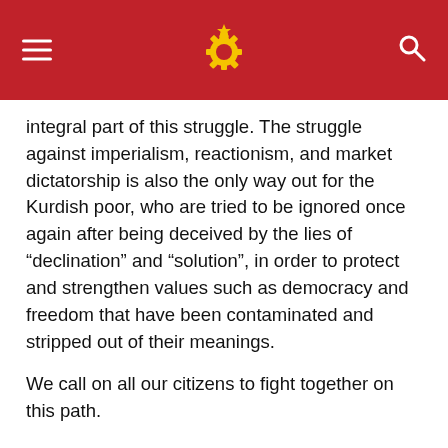Communist Party of Turkey website header with logo
integral part of this struggle. The struggle against imperialism, reactionism, and market dictatorship is also the only way out for the Kurdish poor, who are tried to be ignored once again after being deceived by the lies of “declination” and “solution”, in order to protect and strengthen values such as democracy and freedom that have been contaminated and stripped out of their meanings.
We call on all our citizens to fight together on this path.
Communist Party of Turkey
Central Committee